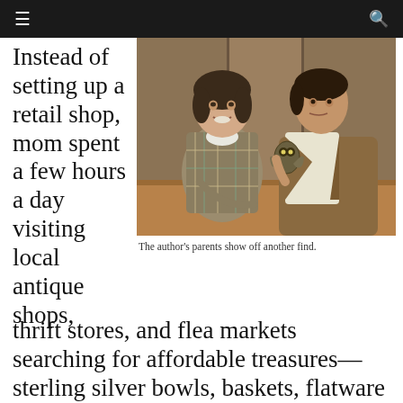≡  🔍
Instead of setting up a retail shop, mom spent a few hours a day visiting local antique shops,
[Figure (photo): An older couple sitting together, the woman wearing a plaid sweater with a white collar, the man holding up a small decorative metal figurine (appears to be an owl). Vintage photograph with warm tones.]
The author's parents show off another find.
thrift stores, and flea markets searching for affordable treasures—sterling silver bowls, baskets, flatware and such, artistic porcelain